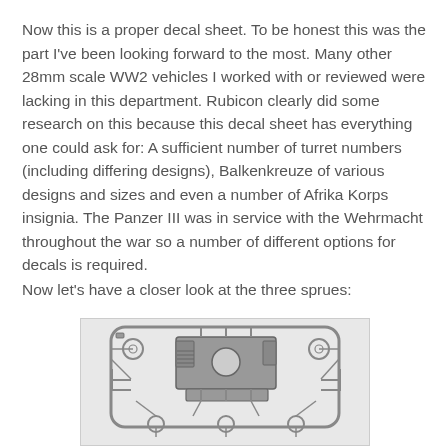Now this is a proper decal sheet. To be honest this was the part I've been looking forward to the most. Many other 28mm scale WW2 vehicles I worked with or reviewed were lacking in this department. Rubicon clearly did some research on this because this decal sheet has everything one could ask for: A sufficient number of turret numbers (including differing designs), Balkenkreuze of various designs and sizes and even a number of Afrika Korps insignia. The Panzer III was in service with the Wehrmacht throughout the war so a number of different options for decals is required.
Now let's have a closer look at the three sprues:
[Figure (photo): Black and white photograph of a plastic model kit sprue showing parts for a Panzer III tank, including hull top section with turret ring opening, wheel parts, and various small components connected by runners, on a white background.]